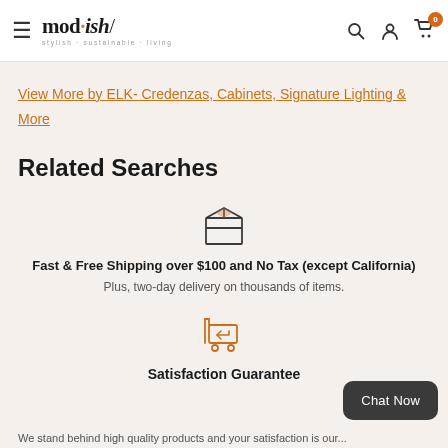mod·ish/ stylish·sustainable·living
View More by ELK- Credenzas, Cabinets, Signature Lighting & More
Related Searches
[Figure (illustration): Package/shipping box icon in outline style with brown/tan color]
Fast & Free Shipping over $100 and No Tax (except California)
Plus, two-day delivery on thousands of items.
[Figure (illustration): Return/shopping cart icon with arrow in orange outline style]
Satisfaction Guarantee
We stand behind high quality products and your satisfaction is our...